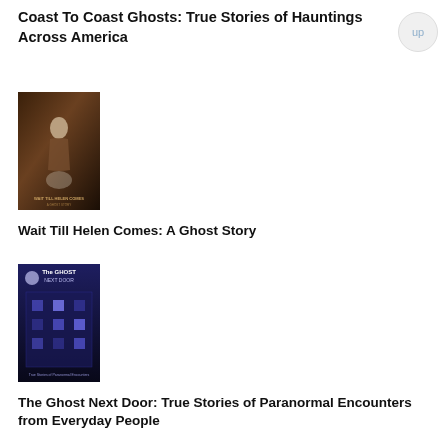Coast To Coast Ghosts: True Stories of Hauntings Across America
[Figure (illustration): Book cover for 'Wait Till Helen Comes: A Ghost Story' — dark background with figure]
Wait Till Helen Comes: A Ghost Story
[Figure (illustration): Book cover for 'The Ghost Next Door: True Stories of Paranormal Encounters from Everyday People' — dark blue building illustration]
The Ghost Next Door: True Stories of Paranormal Encounters from Everyday People
[Figure (illustration): Book cover for 'The Oxford Book of Victorian Ghost Stories' — sepia/dark toned photographic image]
The Oxford Book of Victorian Ghost Stories